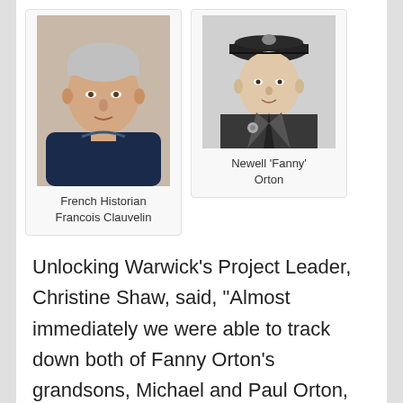[Figure (photo): Color photo of French Historian Francois Clauvelin, an older man with grey/white hair wearing a dark top]
French Historian Francois Clauvelin
[Figure (photo): Black and white photo of Newell 'Fanny' Orton in military uniform and cap]
Newell 'Fanny' Orton
Unlocking Warwick's Project Leader, Christine Shaw, said, “Almost immediately we were able to track down both of Fanny Orton’s grandsons, Michael and Paul Orton, and the family is now exchanging information and photographs with Monsieur Clauvelin in France who is ‘absolutely delighted’. We have also